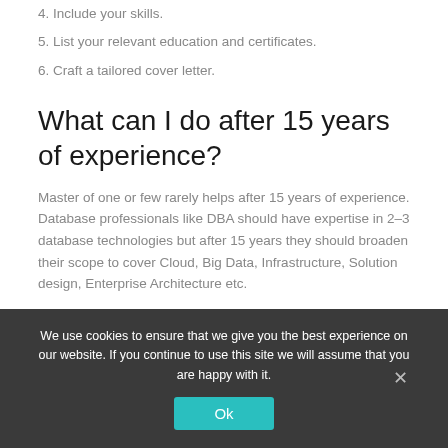4. Include your skills.
5. List your relevant education and certificates.
6. Craft a tailored cover letter.
What can I do after 15 years of experience?
Master of one or few rarely helps after 15 years of experience. Database professionals like DBA should have expertise in 2–3 database technologies but after 15 years they should broaden their scope to cover Cloud, Big Data, Infrastructure, Solution design, Enterprise Architecture etc.
What should a 16 year old put on
We use cookies to ensure that we give you the best experience on our website. If you continue to use this site we will assume that you are happy with it.